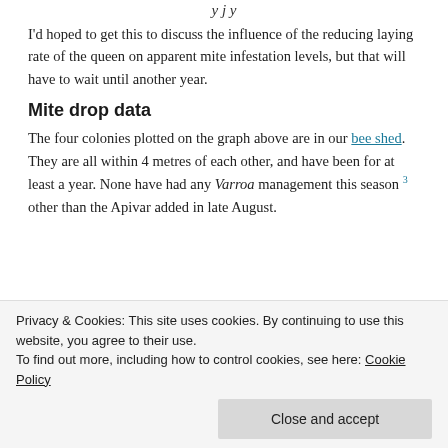…y j y…
I'd hoped to get this to discuss the influence of the reducing laying rate of the queen on apparent mite infestation levels, but that will have to wait until another year.
Mite drop data
The four colonies plotted on the graph above are in our bee shed. They are all within 4 metres of each other, and have been for at least a year. None have had any Varroa management this season 3 other than the Apivar added in late August.
Privacy & Cookies: This site uses cookies. By continuing to use this website, you agree to their use.
To find out more, including how to control cookies, see here: Cookie Policy
[Figure (photo): Image strip at bottom of page showing three photos side by side: green image on left, middle brownish image, right brownish image]